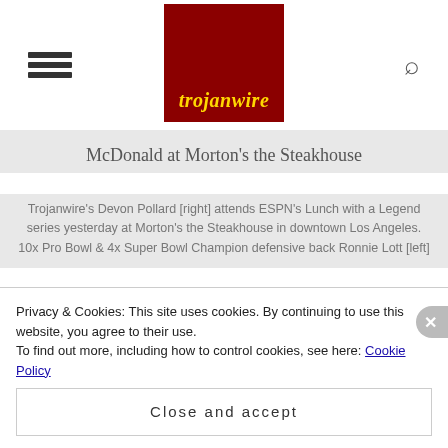trojanwire
McDonald at Morton's the Steakhouse
Trojanwire's Devon Pollard [right] attends ESPN's Lunch with a Legend series yesterday at Morton's the Steakhouse in downtown Los Angeles. 10x Pro Bowl & 4x Super Bowl Champion defensive back Ronnie Lott [left]
Privacy & Cookies: This site uses cookies. By continuing to use this website, you agree to their use.
To find out more, including how to control cookies, see here: Cookie Policy
Close and accept